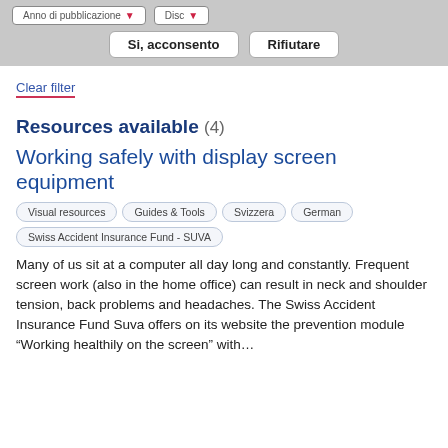[Figure (screenshot): Top gray bar with filter dropdowns (Anno di pubblicazione, Disc) and consent buttons (Si, acconsento, Rifiutare)]
Clear filter
Resources available (4)
Working safely with display screen equipment
Visual resources
Guides & Tools
Svizzera
German
Swiss Accident Insurance Fund - SUVA
Many of us sit at a computer all day long and constantly. Frequent screen work (also in the home office) can result in neck and shoulder tension, back problems and headaches. The Swiss Accident Insurance Fund Suva offers on its website the prevention module “Working healthily on the screen” with…